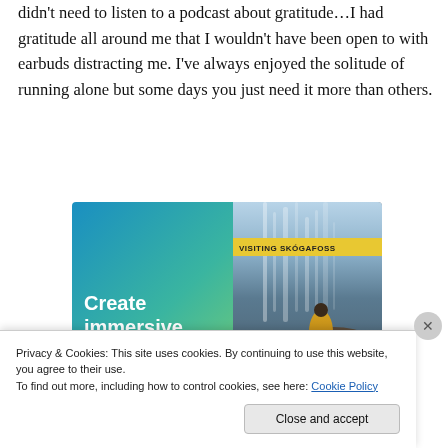didn't need to listen to a podcast about gratitude...I had gratitude all around me that I wouldn't have been open to with earbuds distracting me. I've always enjoyed the solitude of running alone but some days you just need it more than others.
[Figure (illustration): Advertisement banner: 'Create immersive stories.' on a blue-green gradient background with a photo of a waterfall and a person in a yellow jacket, with 'VISITING SKÓGAFOSS' label overlay.]
Privacy & Cookies: This site uses cookies. By continuing to use this website, you agree to their use.
To find out more, including how to control cookies, see here: Cookie Policy
Close and accept